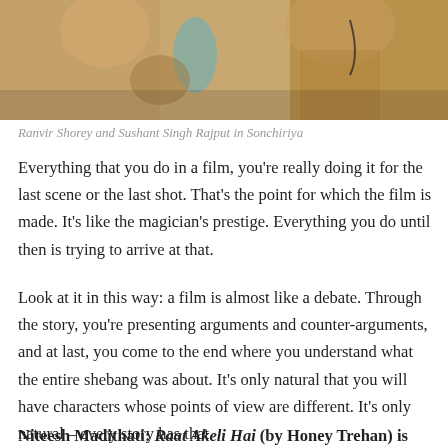[Figure (photo): Two men in khaki/tan jackets, one wearing a teal scarf, photographed outdoors — scene from the film Sonchiriya]
Ranvir Shorey and Sushant Singh Rajput in Sonchiriya
Everything that you do in a film, you’re really doing it for the last scene or the last shot. That’s the point for which the film is made. It’s like the magician’s prestige. Everything you do until then is trying to arrive at that.
Look at it in this way: a film is almost like a debate. Through the story, you’re presenting arguments and counter-arguments, and at last, you come to the end where you understand what the entire shebang was about. It’s only natural that you will have characters whose points of view are different. It’s only natural – every story has that.
Niteesh Madithati: Raat Akeli Hai (by Honey Trehan) is